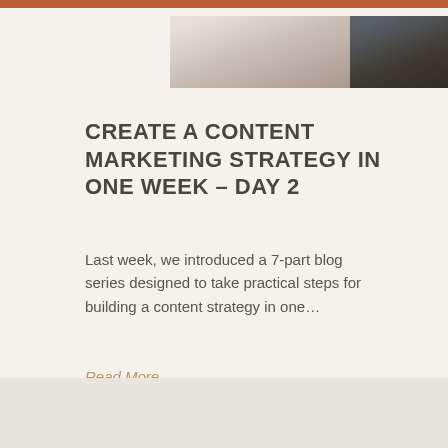[Figure (photo): Photo strip showing two people partially visible — left side shows a person in light clothing, right side shows a person in dark clothing seated in a chair]
CREATE A CONTENT MARKETING STRATEGY IN ONE WEEK – DAY 2
Last week, we introduced a 7-part blog series designed to take practical steps for building a content strategy in one…
Read More